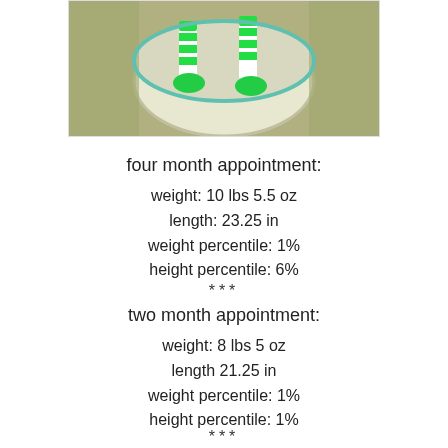[Figure (photo): Photo of a baby in a bowl/basket with green and white striped socks]
four month appointment:
weight: 10 lbs 5.5 oz
length: 23.25 in
weight percentile: 1%
height percentile: 6%
***
two month appointment:
weight: 8 lbs 5 oz
length 21.25 in
weight percentile: 1%
height percentile: 1%
***